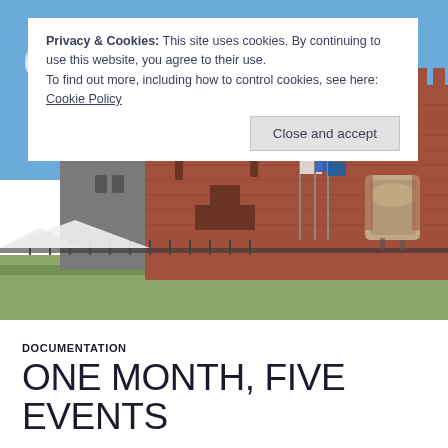[Figure (photo): Photograph of the Sforzesco Castle in Milan, Italy. Shows a round stone tower on the left and large brick fortress walls on the right under a blue sky with some clouds. Flags and people visible near the entrance.]
Privacy & Cookies: This site uses cookies. By continuing to use this website, you agree to their use.
To find out more, including how to control cookies, see here: Cookie Policy
Close and accept
DOCUMENTATION
ONE MONTH, FIVE EVENTS